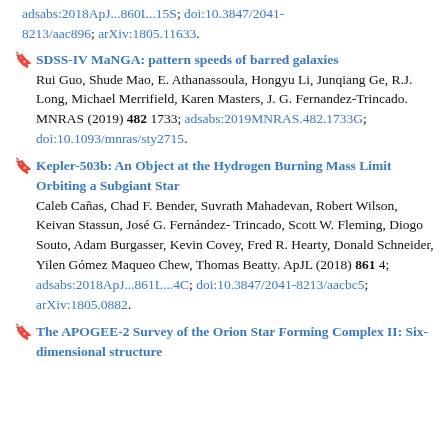adsabs:2018ApJ...860L..15S; doi:10.3847/2041-8213/aac896; arXiv:1805.11633.
SDSS-IV MaNGA: pattern speeds of barred galaxies. Rui Guo, Shude Mao, E. Athanassoula, Hongyu Li, Junqiang Ge, R.J. Long, Michael Merrifield, Karen Masters, J. G. Fernandez-Trincado. MNRAS (2019) 482 1733; adsabs:2019MNRAS.482.1733G; doi:10.1093/mnras/sty2715.
Kepler-503b: An Object at the Hydrogen Burning Mass Limit Orbiting a Subgiant Star. Caleb Cañas, Chad F. Bender, Suvrath Mahadevan, Robert Wilson, Keivan Stassun, José G. Fernández-Trincado, Scott W. Fleming, Diogo Souto, Adam Burgasser, Kevin Covey, Fred R. Hearty, Donald Schneider, Yilen Gómez Maqueo Chew, Thomas Beatty. ApJL (2018) 861 4; adsabs:2018ApJ...861L...4C; doi:10.3847/2041-8213/aacbc5; arXiv:1805.0882.
The APOGEE-2 Survey of the Orion Star Forming Complex II: Six-dimensional structure